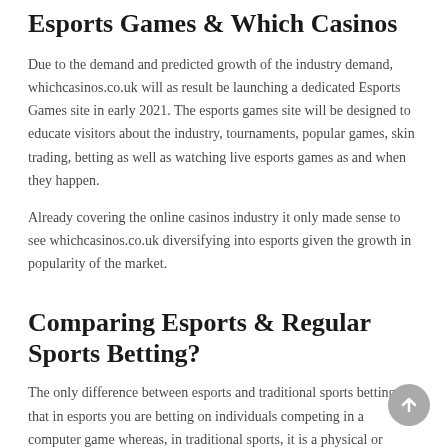Esports Games & Which Casinos
Due to the demand and predicted growth of the industry demand, whichcasinos.co.uk will as result be launching a dedicated Esports Games site in early 2021. The esports games site will be designed to educate visitors about the industry, tournaments, popular games, skin trading, betting as well as watching live esports games as and when they happen.
Already covering the online casinos industry it only made sense to see whichcasinos.co.uk diversifying into esports given the growth in popularity of the market.
Comparing Esports & Regular Sports Betting?
The only difference between esports and traditional sports betting is that in esports you are betting on individuals competing in a computer game whereas, in traditional sports, it is a physical or mental contest between two teams or individuals.